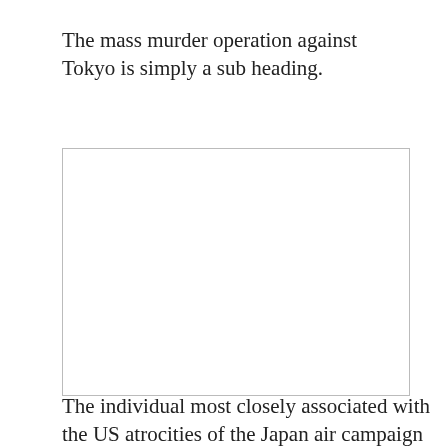The mass murder operation against Tokyo is simply a sub heading.
[Figure (photo): Empty white box placeholder for a photo of Curtis LeMay in the 1940s.]
Curtis LeMay in the 1940s.
The individual most closely associated with the US atrocities of the Japan air campaign is a